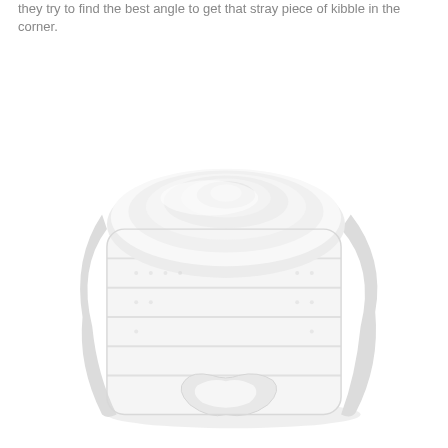they try to find the best angle to get that stray piece of kibble in the corner.
[Figure (photo): A rolled white terry cloth towel photographed on a white background, showing the textured fabric and spiral roll pattern.]